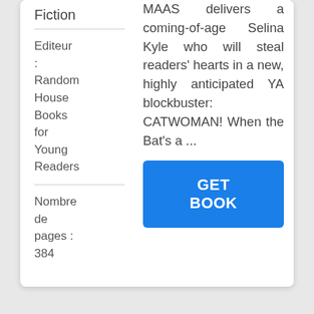Fiction
Editeur : Random House Books for Young Readers
Nombre de pages : 384
MAAS delivers a coming-of-age Selina Kyle who will steal readers' hearts in a new, highly anticipated YA blockbuster: CATWOMAN! When the Bat's a ...
GET BOOK